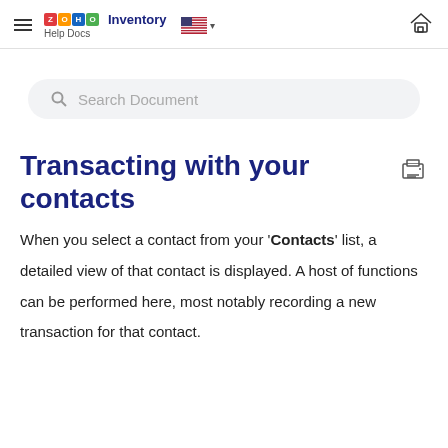ZOHO Inventory Help Docs
Transacting with your contacts
When you select a contact from your 'Contacts' list, a detailed view of that contact is displayed. A host of functions can be performed here, most notably recording a new transaction for that contact.